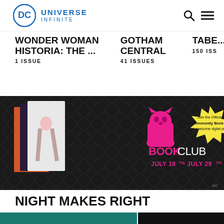DC Universe Infinite
WONDER WOMAN HISTORIA: THE ... 1 ISSUE
GOTHAM CENTRAL 41 ISSUES
150 ISS
[Figure (infographic): DC Community Book Club promotional banner on dark background. Shows Harley Quinn comic book covers on the left, pink cat-eared mascot logo in the center, 'BOOKCLUB' text in pink and white, 'JULY 18TH - JULY 29TH' dates. Yellow starburst callout reads: 'Join the Official DC Community Book Club! Get awesome digital perks!']
NIGHT MAKES RIGHT
[Figure (photo): Partial view of comic book cover showing teal/dark background with partial character art]